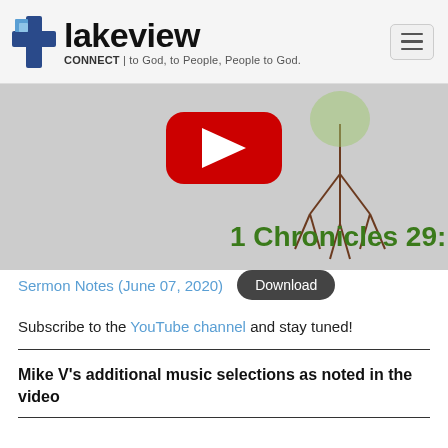lakeview CONNECT | to God, to People, People to God.
[Figure (screenshot): Video thumbnail showing a tree root illustration with text '1 Chronicles 29:1' in green and a red YouTube play button overlay, on a light grey background.]
Sermon Notes (June 07, 2020) Download
Subscribe to the YouTube channel and stay tuned!
Mike V's additional music selections as noted in the video